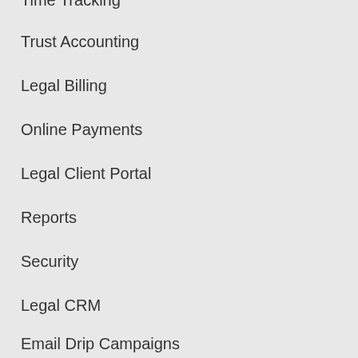Time Tracking
Trust Accounting
Legal Billing
Online Payments
Legal Client Portal
Reports
Security
Legal CRM
Email Drip Campaigns